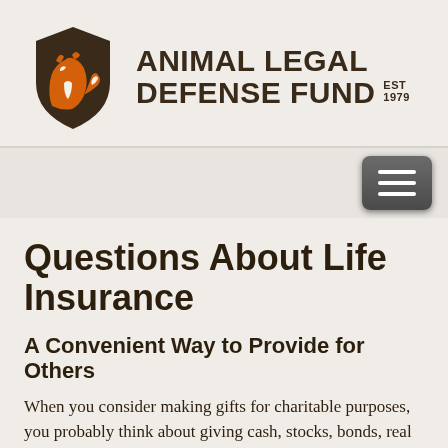[Figure (logo): Animal Legal Defense Fund logo with fox in shield and organization name, EST 1979]
[Figure (other): Hamburger menu button (three horizontal lines) with dark rounded rectangle background]
Questions About Life Insurance
A Convenient Way to Provide for Others
When you consider making gifts for charitable purposes, you probably think about giving cash, stocks, bonds, real estate or